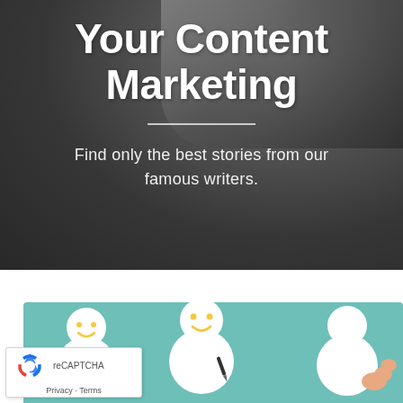Your Content Marketing
Find only the best stories from our famous writers.
[Figure (illustration): Teal background with three smiley-face character illustrations representing writers or content creators, one holding a pen]
[Figure (other): reCAPTCHA widget overlay with recycling arrow logo and Privacy - Terms links]